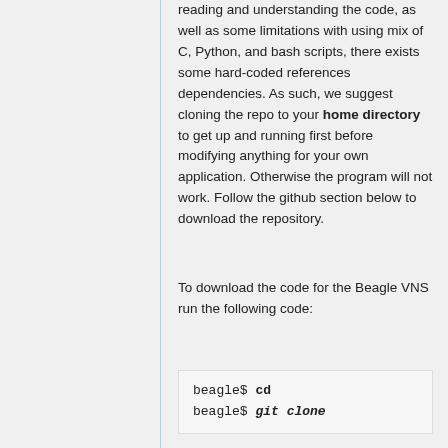reading and understanding the code, as well as some limitations with using mix of C, Python, and bash scripts, there exists some hard-coded references dependencies. As such, we suggest cloning the repo to your home directory to get up and running first before modifying anything for your own application. Otherwise the program will not work. Follow the github section below to download the repository.
To download the code for the Beagle VNS run the following code:
beagle$ cd
beagle$ git clone